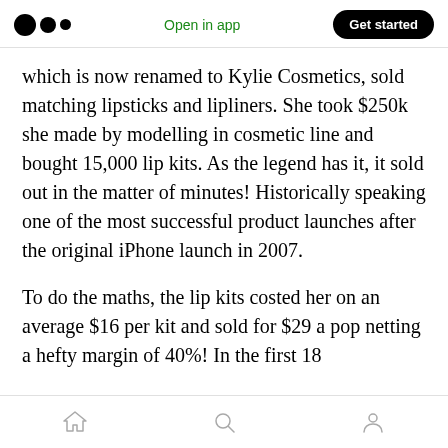Medium logo | Open in app | Get started
which is now renamed to Kylie Cosmetics, sold matching lipsticks and lipliners. She took $250k she made by modelling in cosmetic line and bought 15,000 lip kits. As the legend has it, it sold out in the matter of minutes! Historically speaking one of the most successful product launches after the original iPhone launch in 2007.
To do the maths, the lip kits costed her on an average $16 per kit and sold for $29 a pop netting a hefty margin of 40%! In the first 18
Home | Search | Profile